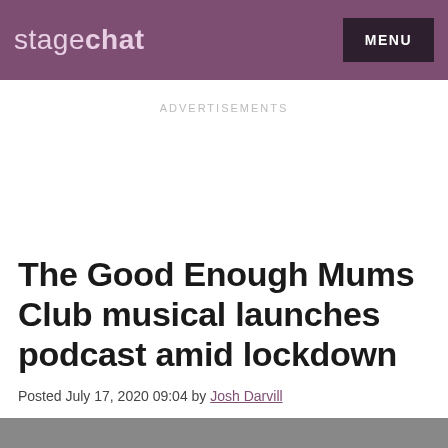stagechat  MENU
ADVERTISEMENTS
The Good Enough Mums Club musical launches podcast amid lockdown
Posted July 17, 2020 09:04 by Josh Darvill
[Figure (photo): Gray image placeholder at the bottom of the page]